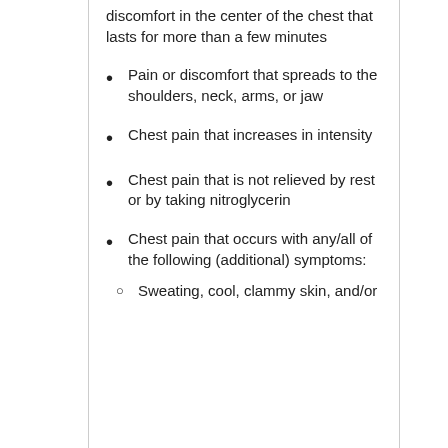discomfort in the center of the chest that lasts for more than a few minutes
Pain or discomfort that spreads to the shoulders, neck, arms, or jaw
Chest pain that increases in intensity
Chest pain that is not relieved by rest or by taking nitroglycerin
Chest pain that occurs with any/all of the following (additional) symptoms:
Sweating, cool, clammy skin, and/or